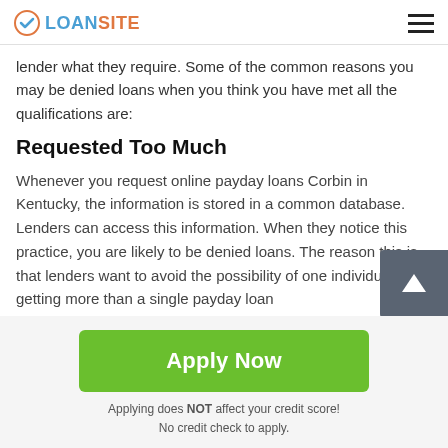LOANSITE
lender what they require. Some of the common reasons you may be denied loans when you think you have met all the qualifications are:
Requested Too Much
Whenever you request online payday loans Corbin in Kentucky, the information is stored in a common database. Lenders can access this information. When they notice this practice, you are likely to be denied loans. The reason this is that lenders want to avoid the possibility of one individual getting more than a single payday loan
Apply Now
Applying does NOT affect your credit score!
No credit check to apply.